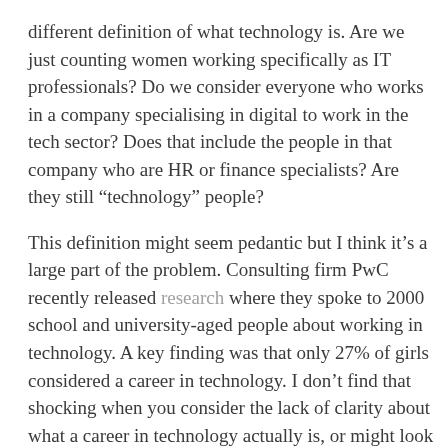different definition of what technology is. Are we just counting women working specifically as IT professionals? Do we consider everyone who works in a company specialising in digital to work in the tech sector? Does that include the people in that company who are HR or finance specialists? Are they still “technology” people?
This definition might seem pedantic but I think it’s a large part of the problem. Consulting firm PwC recently released research where they spoke to 2000 school and university-aged people about working in technology. A key finding was that only 27% of girls considered a career in technology. I don’t find that shocking when you consider the lack of clarity about what a career in technology actually is, or might look like.
Two: how do we define a career?
Traditionally, the UN wants to teach children about...